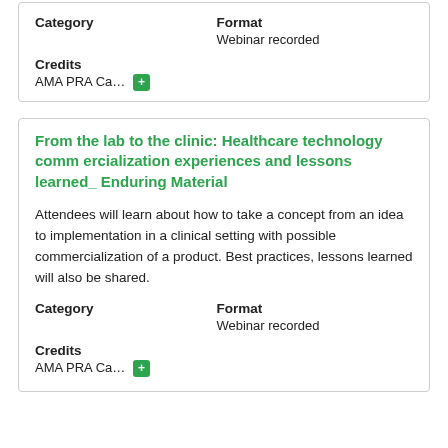Category | Format: Webinar recorded
Credits: AMA PRA Ca... +
From the lab to the clinic: Healthcare technology commercialization experiences and lessons learned_ Enduring Material
Attendees will learn about how to take a concept from an idea to implementation in a clinical setting with possible commercialization of a product. Best practices, lessons learned will also be shared.
Category | Format: Webinar recorded
Credits: AMA PRA Ca... +